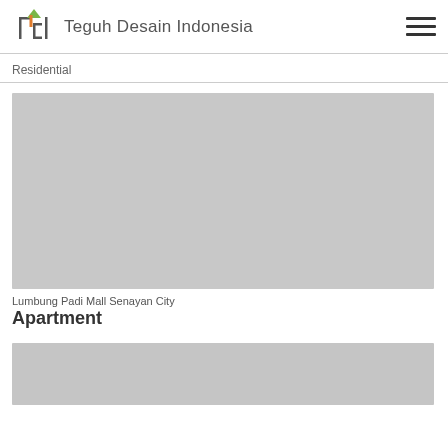Teguh Desain Indonesia
Residential
[Figure (photo): Gray placeholder image for a project photo]
Lumbung Padi Mall Senayan City
Apartment
[Figure (photo): Gray placeholder image for a second project photo]